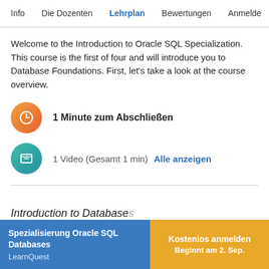Info   Die Dozenten   Lehrplan   Bewertungen   Anmelde
Welcome to the Introduction to Oracle SQL Specialization. This course is the first of four and will introduce you to Database Foundations. First, let's take a look at the course overview.
1 Minute zum Abschließen
1 Video (Gesamt 1 min)   Alle anzeigen
Introduction to Database...
Spezialisierung Oracle SQL Databases
LearnQuest
Kostenlos anmelden
Beginnt am 2. Sep.